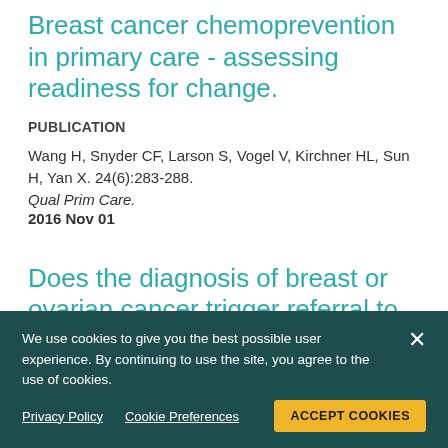Breast cancer chemoprevention in primary care - assessing readiness for change.
PUBLICATION
Wang H, Snyder CF, Larson S, Vogel V, Kirchner HL, Sun H, Yan X. 24(6):283-288.
Qual Prim Care.
2016 Nov 01
Does the diagnosis of breast or ovarian cancer trigger referral to
PUBLICATION
Privacy Policy   Cookie Preferences   ACCEPT COOKIES
We use cookies to give you the best possible user experience. By continuing to use the site, you agree to the use of cookies.